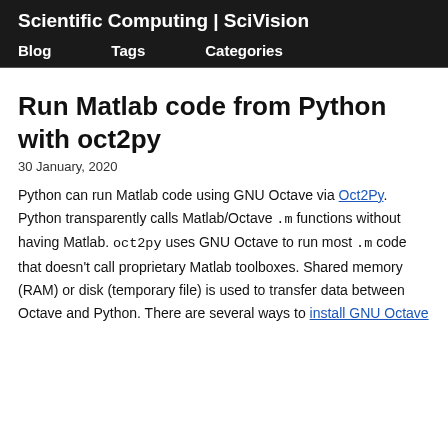Scientific Computing | SciVision
Blog   Tags   Categories
Run Matlab code from Python with oct2py
30 January, 2020
Python can run Matlab code using GNU Octave via Oct2Py. Python transparently calls Matlab/Octave .m functions without having Matlab. oct2py uses GNU Octave to run most .m code that doesn't call proprietary Matlab toolboxes. Shared memory (RAM) or disk (temporary file) is used to transfer data between Octave and Python. There are several ways to install GNU Octave